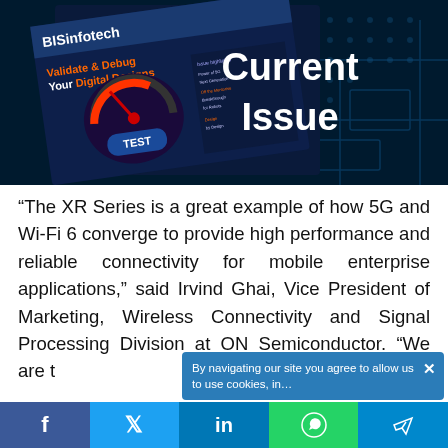[Figure (screenshot): BISinfotech magazine cover showing 'Validate & Debug Your Digital Designs' with 'Current Issue' text overlay on blue circuit board background]
“The XR Series is a great example of how 5G and Wi-Fi 6 converge to provide high performance and reliable connectivity for mobile enterprise applications,” said Irvind Ghai, Vice President of Marketing, Wireless Connectivity and Signal Processing Division at ON Semiconductor. “We are t
By navigating our site you agree to allow us to use cookies, in
[Figure (infographic): Social media sharing bar with Facebook, Twitter, LinkedIn, WhatsApp, and Telegram buttons]